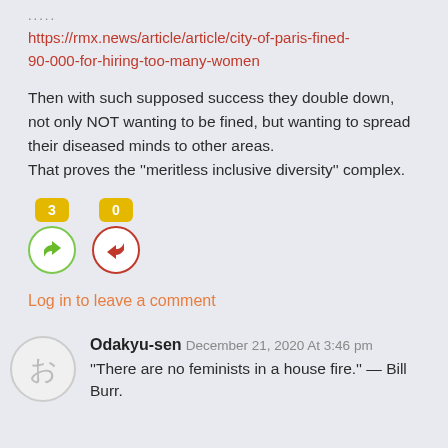.....
https://rmx.news/article/article/city-of-paris-fined-90-000-for-hiring-too-many-women
Then with such supposed success they double down, not only NOT wanting to be fined, but wanting to spread their diseased minds to other areas.
That proves the "meritless inclusive diversity" complex.
[Figure (infographic): Thumbs up button with badge showing count 3 and thumbs down button with badge showing count 0]
Log in to leave a comment
Odakyu-sen December 21, 2020 At 3:46 pm
"There are no feminists in a house fire." — Bill Burr.